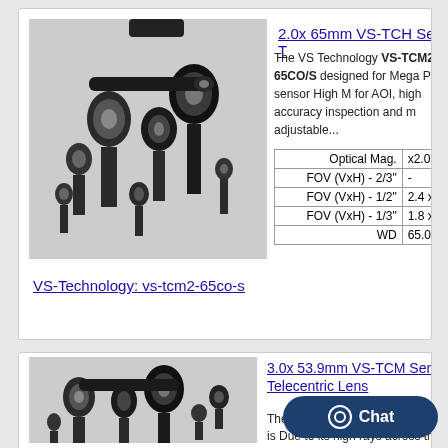[Figure (photo): Collection of black telecentric lenses of various sizes arranged on a light grey background]
VS-Technology: vs-tcm2-65co-s
2.0x 65mm VS-TCH Series T
The VS Technology VS-TCM2-65CO/S designed for Mega Pixel sensor High M for AOI, high accuracy inspection and m adjustable...
|  |  |
| --- | --- |
| Optical Mag. | x2.0 ◆ |
| FOV (VxH) - 2/3" | - |
| FOV (VxH) - 1/2" | 2.4 x 3 |
| FOV (VxH) - 1/3" | 1.8 x 2 |
| WD | 65.0mn |
[Figure (photo): Collection of black telecentric lenses of various sizes arranged on a light grey background]
3.0x 53.9mm VS-TCM Series Telecentric Lens
The VS Technology VS-TCM3-50CO is Due to its high rays across th used...